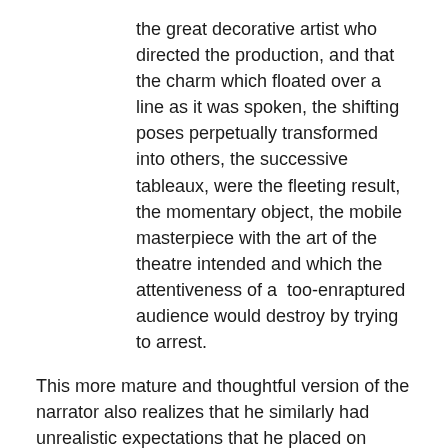the great decorative artist who directed the production, and that the charm which floated over a line as it was spoken, the shifting poses perpetually transformed into others, the successive tableaux, were the fleeting result, the momentary object, the mobile masterpiece with the art of the theatre intended and which the attentiveness of a  too-enraptured audience would destroy by trying to arrest.
This more mature and thoughtful version of the narrator also realizes that he similarly had unrealistic expectations that he placed on Gilberte, Swann's daughter with whom he was in love in the previous book.  While watching Berma perform, he thinks about the myriad of factors that influence the foundation of one's expectations: